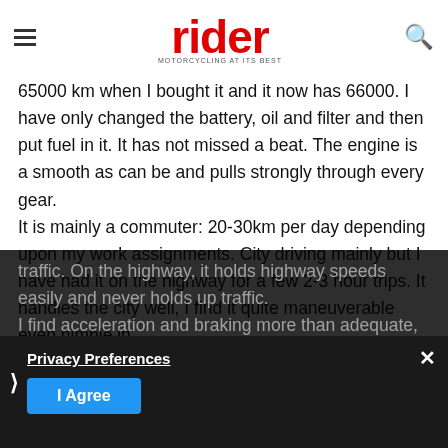rider — MOTORCYCLING AT ITS BEST
65000 km when I bought it and it now has 66000. I have only changed the battery, oil and filter and then put fuel in it. It has not missed a beat. The engine is a smooth as can be and pulls strongly through every gear. It is mainly a commuter: 20-30km per day depending upon my work assignments. City driving mainly but I have had it on the highway for a few 2-3 hour trips. It handles the city well, I find it quite maneuverable even nimble in traffic. On the highway, it holds highway speeds easily and never holds up traffic. I find acceleration and braking more than adequate, eco…l/100 or about 55 mpg My wife has been on the back seat a few times
Privacy Preferences
I Agree